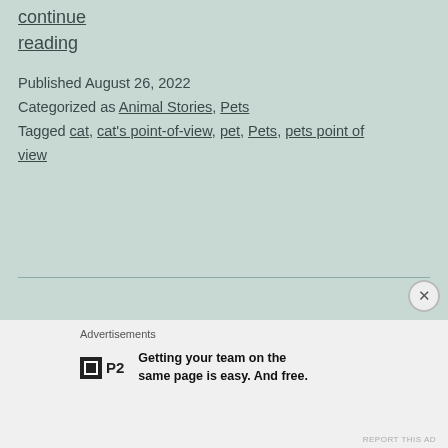responsibilities, taking my turn with continue reading
Published August 26, 2022
Categorized as Animal Stories, Pets
Tagged cat, cat's point-of-view, pet, Pets, pets point of view
Advertisements
Getting your team on the same page is easy. And free.